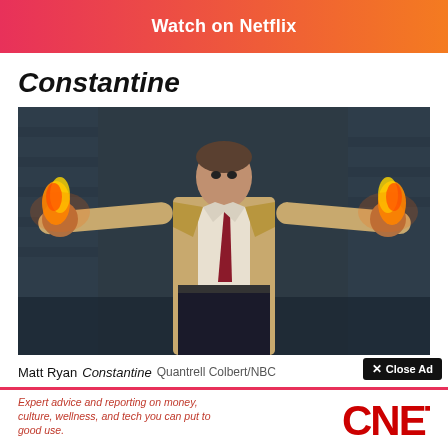Watch on Netflix
Constantine
[Figure (photo): Matt Ryan as Constantine, arms outstretched with flames in both hands, wearing a tan trench coat and dark red tie, against a dark stone background]
Matt Ryan, Constantine, Quantrell Colbert/NBC
[Figure (screenshot): Advertisement overlay: CNET logo with text 'Expert advice and reporting on money, culture, wellness, and tech you can put to good use.' with a Close Ad button]
Looki